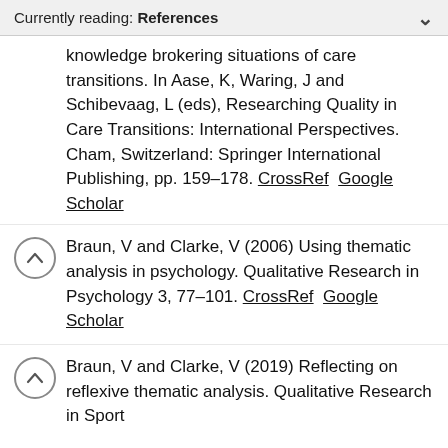Currently reading: References
knowledge brokering situations of care transitions. In Aase, K, Waring, J and Schibevaag, L (eds), Researching Quality in Care Transitions: International Perspectives. Cham, Switzerland: Springer International Publishing, pp. 159–178. CrossRef Google Scholar
Braun, V and Clarke, V (2006) Using thematic analysis in psychology. Qualitative Research in Psychology 3, 77–101. CrossRef Google Scholar
Braun, V and Clarke, V (2019) Reflecting on reflexive thematic analysis. Qualitative Research in Sport